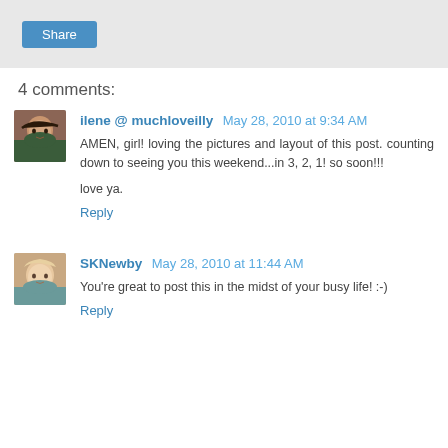[Figure (screenshot): Share button on a grey background bar]
4 comments:
ilene @ muchloveilly May 28, 2010 at 9:34 AM
AMEN, girl! loving the pictures and layout of this post. counting down to seeing you this weekend...in 3, 2, 1! so soon!!!

love ya.
Reply
SKNewby May 28, 2010 at 11:44 AM
You're great to post this in the midst of your busy life! :-)
Reply